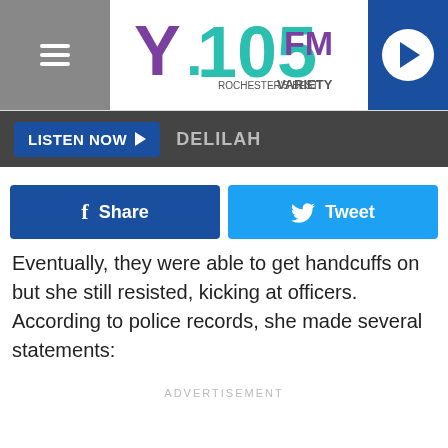Y.105FM Rochester's Best Variety
[Figure (logo): Y.105FM Rochester's Best Variety logo with purple Y, teal .105, and purple/teal FM text]
LISTEN NOW ▶  DELILAH
[Figure (infographic): Facebook Share button and Twitter Tweet button row]
Eventually, they were able to get handcuffs on but she still resisted, kicking at officers. According to police records, she made several statements:
ADVERTISEMENT